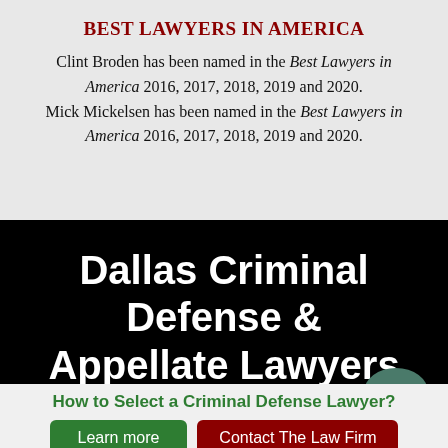BEST LAWYERS IN AMERICA
Clint Broden has been named in the Best Lawyers in America 2016, 2017, 2018, 2019 and 2020. Mick Mickelsen has been named in the Best Lawyers in America 2016, 2017, 2018, 2019 and 2020.
Dallas Criminal Defense & Appellate Lawyers
How to Select a Criminal Defense Lawyer?
Learn more
Contact The Law Firm